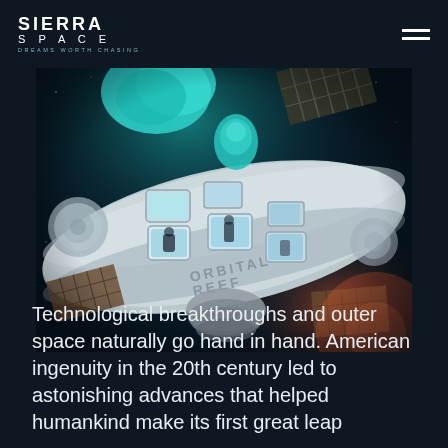SIERRA SPACE — DREAMS WORTH CHASING
[Figure (photo): Rendered illustration of the Orbital Reef space station module in orbit, showing cylindrical habitat modules with windows, solar panels, and green inflatable modules against a dark space background. The module has 'ORBITAL REEF' written on its side.]
Technological breakthroughs and outer space naturally go hand in hand. American ingenuity in the 20th century led to astonishing advances that helped humankind make its first great leap